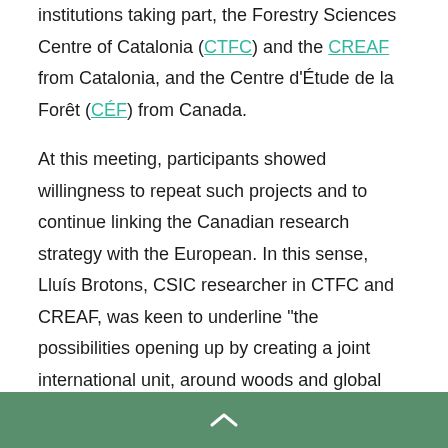institutions taking part, the Forestry Sciences Centre of Catalonia (CTFC) and the CREAF from Catalonia, and the Centre d'Étude de la Forêt (CÉF) from Canada.

At this meeting, participants showed willingness to repeat such projects and to continue linking the Canadian research strategy with the European. In this sense, Lluís Brotons, CSIC researcher in CTFC and CREAF, was keen to underline "the possibilities opening up by creating a joint international unit, around woods and global change." On the other hand, Brotons also stressed the "need to move forward major projects that strengthen research without borders."
^